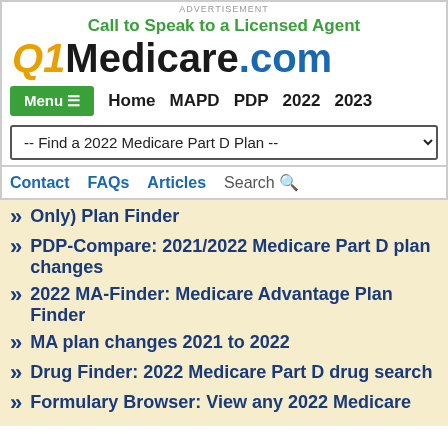ADVERTISEMENT
Call to Speak to a Licensed Agent
[Figure (logo): Q1Medicare.com logo with Q1 in gold/italic, Medicare in black bold, .com in blue bold]
Menu ≡  Home  MAPD  PDP  2022  2023
-- Find a 2022 Medicare Part D Plan --
Contact  FAQs  Articles  Search
Only) Plan Finder
PDP-Compare: 2021/2022 Medicare Part D plan changes
2022 MA-Finder: Medicare Advantage Plan Finder
MA plan changes 2021 to 2022
Drug Finder: 2022 Medicare Part D drug search
Formulary Browser: View any 2022 Medicare...